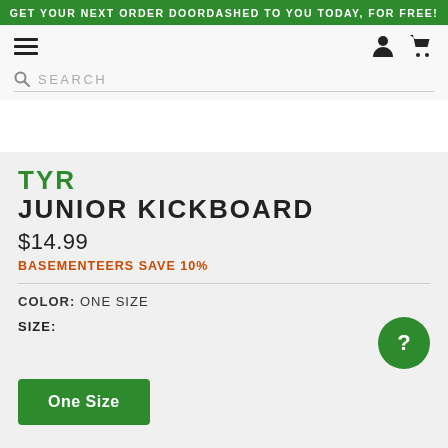GET YOUR NEXT ORDER DOORDASHED TO YOU TODAY, FOR FREE!
[Figure (screenshot): Navigation bar with hamburger menu, search bar, user icon, and cart icon]
TYR
JUNIOR KICKBOARD
$14.99
BASEMENTEERS SAVE 10%
COLOR: ONE SIZE
SIZE:
One Size